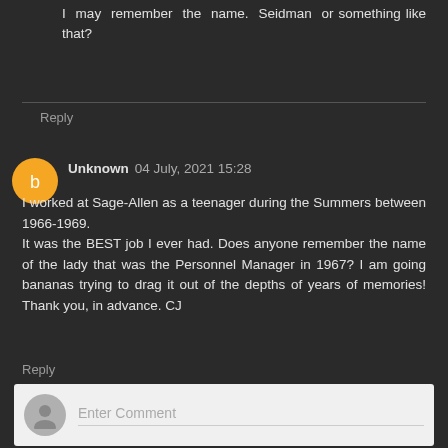I may remember the name. Seidman or something like that?
Reply
Unknown 04 July, 2021 15:28
I worked at Sage-Allen as a teenager during the Summers between 1966-1969.
It was the BEST job I ever had. Does anyone remember the name of the lady that was the Personnel Manager in 1967? I am going bananas trying to drag it out of the depths of years of memories! Thank you, in advance. CJ
Reply
Enter Comment
Comments - Please do not comment more than once. Your comment must be approved before it